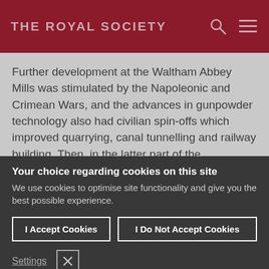THE ROYAL SOCIETY
Further development at the Waltham Abbey Mills was stimulated by the Napoleonic and Crimean Wars, and the advances in gunpowder technology also had civilian spin-offs which improved quarrying, canal tunnelling and railway building. Then, in the latter part of the nineteenth century, other explosives with
Your choice regarding cookies on this site
We use cookies to optimise site functionality and give you the best possible experience.
I Accept Cookies
I Do Not Accept Cookies
Settings